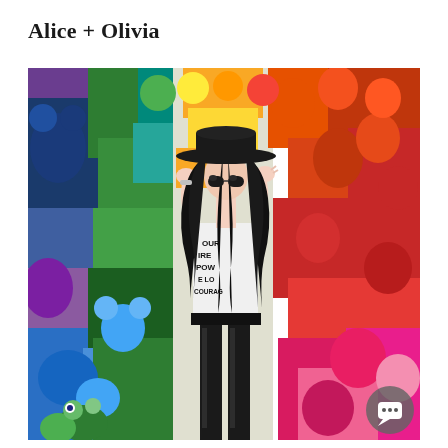Alice + Olivia
[Figure (photo): A woman with long black wavy hair wearing a wide-brim black hat, large round sunglasses, a black and white graphic t-shirt with words like 'COURAGE', 'INSPIRE', 'EMPOWER', 'LOVE', 'ENCOURAGE', and black leather pants. She is posing with hands raised to her hat brim, standing against a colorful background wall covered in stuffed animals and plush toys arranged in a rainbow of colors — purple, blue, green, yellow, orange, red, pink — creating a vibrant backdrop.]